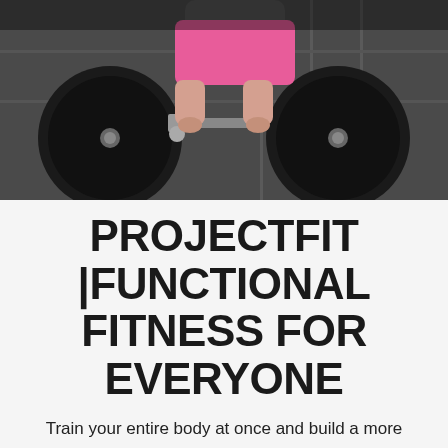[Figure (photo): A woman in a pink top and dark shorts performing a deadlift or squat with a barbell loaded with large black weight plates in a gym setting. The image is cropped showing mostly the weights and lower body.]
PROJECTFIT |FUNCTIONAL FITNESS FOR EVERYONE
Train your entire body at once and build a more